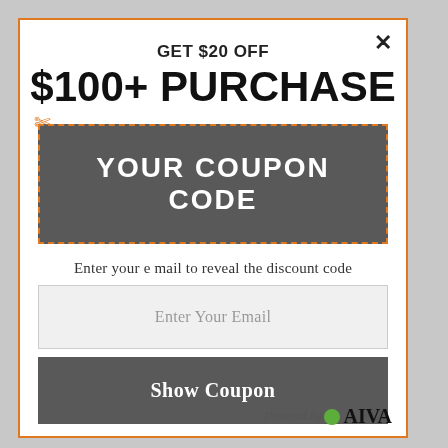GET $20 OFF
$100+ PURCHASE
[Figure (other): Coupon code box with dashed orange border, scissors icon, and gray background showing 'YOUR COUPON CODE' text]
Enter your email to reveal the discount code
Enter Your Email
Show Coupon
Powered By AIVA